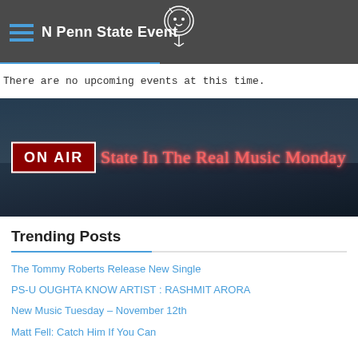N Penn State Event
There are no upcoming events at this time.
[Figure (photo): ON AIR banner with neon script text reading 'State In The Real Music Monday' on a dark urban background]
Trending Posts
The Tommy Roberts Release New Single
PS-U OUGHTA KNOW ARTIST : RASHMIT ARORA
New Music Tuesday – November 12th
Matt Fell: Catch Him If You Can